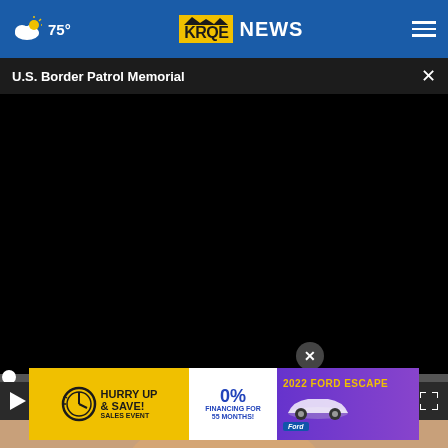75° KRQE NEWS
U.S. Border Patrol Memorial
[Figure (screenshot): Black video player area, paused at 00:00 with progress bar and playback controls]
[Figure (photo): Partial face of an older man visible below the video player]
[Figure (infographic): Advertisement banner: HURRY UP & SAVE! SALES EVENT — 0% FINANCING FOR 55 MONTHS! — 2022 FORD ESCAPE]